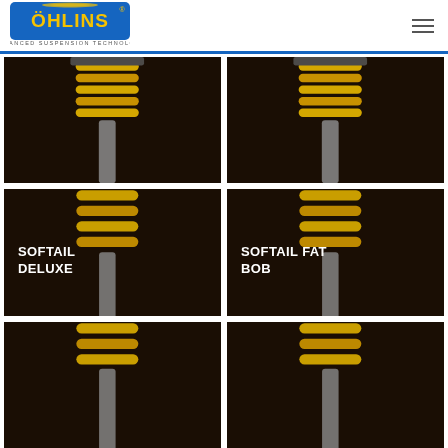ÖHLINS - ADVANCED SUSPENSION TECHNOLOGY
[Figure (photo): Öhlins shock absorber product image (top-left, partially cropped, no label)]
[Figure (photo): Öhlins shock absorber product image (top-right, partially cropped, no label)]
[Figure (photo): Öhlins shock absorber product image labeled SOFTAIL DELUXE]
[Figure (photo): Öhlins shock absorber product image labeled SOFTAIL FAT BOB]
[Figure (photo): Öhlins shock absorber product image (bottom-left, partially cropped, no label)]
[Figure (photo): Öhlins shock absorber product image (bottom-right, partially cropped, no label)]